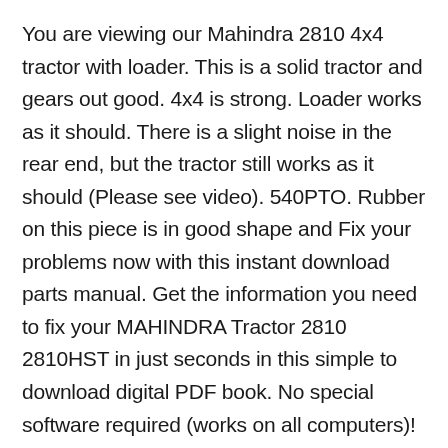You are viewing our Mahindra 2810 4x4 tractor with loader. This is a solid tractor and gears out good. 4x4 is strong. Loader works as it should. There is a slight noise in the rear end, but the tractor still works as it should (Please see video). 540PTO. Rubber on this piece is in good shape and Fix your problems now with this instant download parts manual. Get the information you need to fix your MAHINDRA Tractor 2810 2810HST in just seconds in this simple to download digital PDF book. No special software required (works on all computers)! MAHINDRA TRACTOR 2810 2810HST Parts Manual has easy to read text sections with top quality diagrams and instructions.